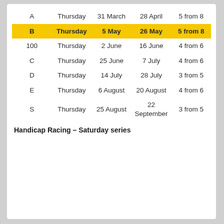|  | Day | Start | Results | Format |
| --- | --- | --- | --- | --- |
| A | Thursday | 31 March | 28 April | 5 from 8 |
| B | Thursday | 5 May | 26 May | 5 from 8 |
| 100 | Thursday | 2 June | 16 June | 4 from 6 |
| C | Thursday | 25 June | 7 July | 4 from 6 |
| D | Thursday | 14 July | 28 July | 3 from 5 |
| E | Thursday | 6 August | 20 August | 4 from 6 |
| S | Thursday | 25 August | 22 September | 3 from 5 |
Handicap Racing – Saturday series